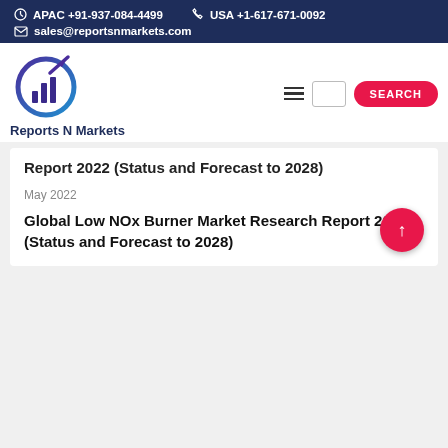APAC +91-937-084-4499   USA +1-617-671-0092   sales@reportsnmarkets.com
[Figure (logo): Reports N Markets logo — circular arrow with bar chart icon, blue and purple gradient]
Reports N Markets
Report 2022 (Status and Forecast to 2028)
May 2022
Global Low NOx Burner Market Research Report 2022 (Status and Forecast to 2028)